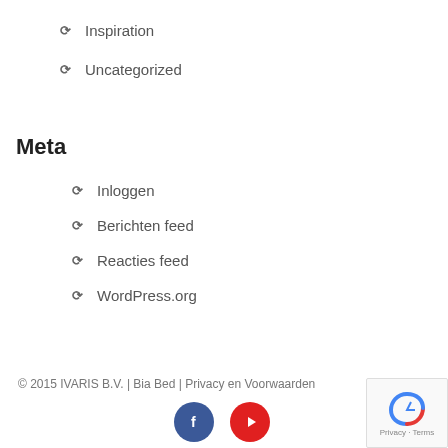Inspiration
Uncategorized
Meta
Inloggen
Berichten feed
Reacties feed
WordPress.org
© 2015 IVARIS B.V. | Bia Bed | Privacy en Voorwaarden